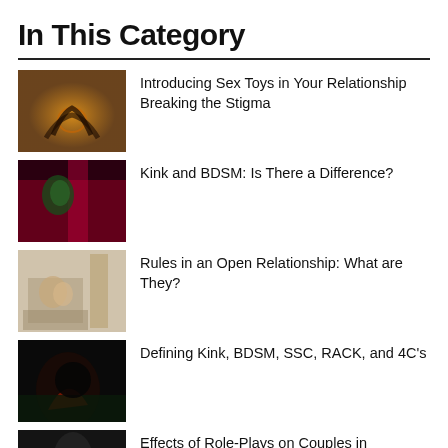In This Category
Introducing Sex Toys in Your Relationship Breaking the Stigma
Kink and BDSM: Is There a Difference?
Rules in an Open Relationship: What are They?
Defining Kink, BDSM, SSC, RACK, and 4C's
Effects of Role-Plays on Couples in